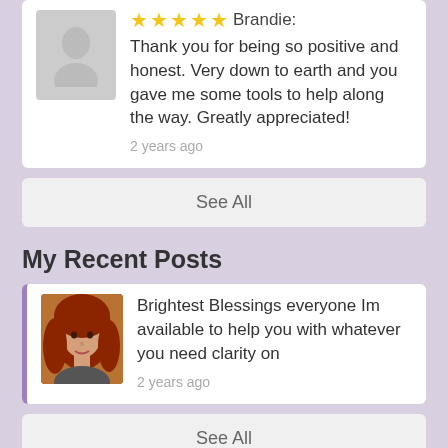[Figure (photo): Gray silhouette avatar placeholder image]
Brandie: Thank you for being so positive and honest. Very down to earth and you gave me some tools to help along the way. Greatly appreciated!
2 years ago
See All
My Recent Posts
[Figure (photo): Photo of a woman with long red hair]
Brightest Blessings everyone Im available to help you with whatever you need clarity on
2 years ago
See All